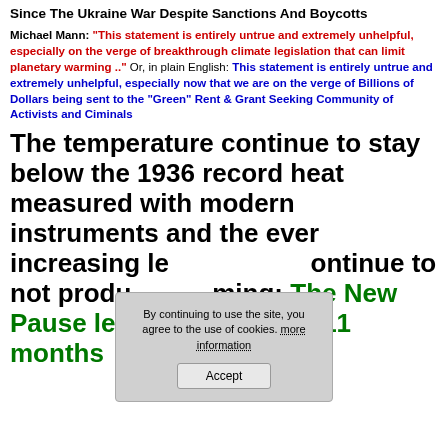Since The Ukraine War Despite Sanctions And Boycotts
Michael Mann: "This statement is entirely untrue and extremely unhelpful, especially on the verge of breakthrough climate legislation that can limit planetary warming .." Or, in plain English: This statement is entirely untrue and extremely unhelpful, especially now that we are on the verge of Billions of Dollars being sent to the "Green" Rent & Grant Seeking Community of Activists and Ciminals
The temperature continue to stay below the 1936 record heat measured with modern instruments and the ever increasing level of co2 continue to not produce warming: The New Pause len... 7 years 11 months